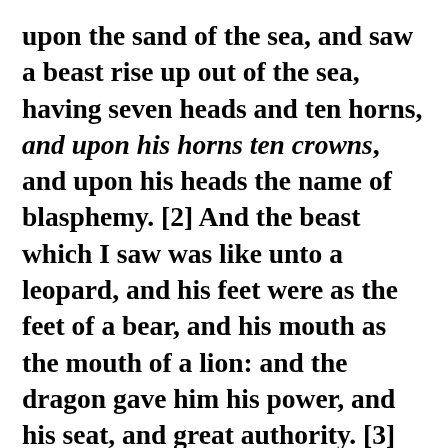upon the sand of the sea, and saw a beast rise up out of the sea, having seven heads and ten horns, and upon his horns ten crowns, and upon his heads the name of blasphemy. [2] And the beast which I saw was like unto a leopard, and his feet were as the feet of a bear, and his mouth as the mouth of a lion: and the dragon gave him his power, and his seat, and great authority. [3] And I saw one of his heads as it were wounded to death; and his deadly wound was healed: and all the world wondered after the